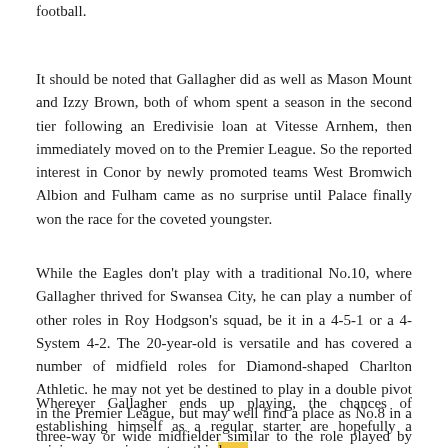football.
It should be noted that Gallagher did as well as Mason Mount and Izzy Brown, both of whom spent a season in the second tier following an Eredivisie loan at Vitesse Arnhem, then immediately moved on to the Premier League. So the reported interest in Conor by newly promoted teams West Bromwich Albion and Fulham came as no surprise until Palace finally won the race for the coveted youngster.
While the Eagles don't play with a traditional No.10, where Gallagher thrived for Swansea City, he can play a number of other roles in Roy Hodgson's squad, be it in a 4-5-1 or a 4- System 4-2. The 20-year-old is versatile and has covered a number of midfield roles for Diamond-shaped Charlton Athletic. he may not yet be destined to play in a double pivot in the Premier League, but may well find a place as No.8 in a three-way or wide midfielder similar to the role played by Ruben Loftus-Cheek. Hodgson on loan three years ago.
Wherever Gallagher ends up playing, the chances of establishing himself as a regular starter are hopefully a minimum requirement on this loan. Loftus-Cheek's success at the club sets a good precedent, but more often